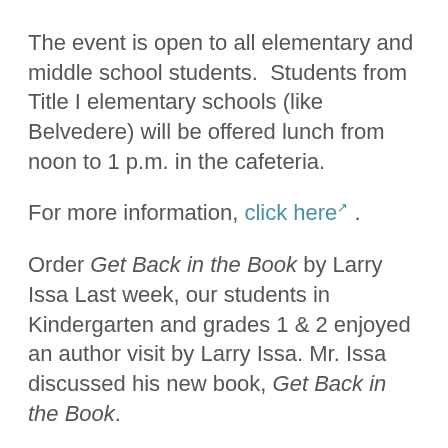The event is open to all elementary and middle school students.  Students from Title I elementary schools (like Belvedere) will be offered lunch from noon to 1 p.m. in the cafeteria.
For more information, click here .
Order Get Back in the Book by Larry Issa Last week, our students in Kindergarten and grades 1 & 2 enjoyed an author visit by Larry Issa. Mr. Issa discussed his new book, Get Back in the Book.
Parents who wish to order a signed copy of the